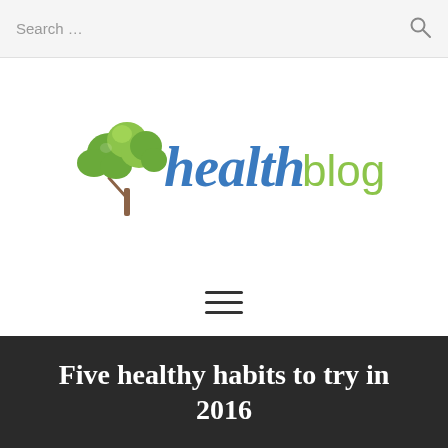Search ...
[Figure (logo): Health Blogs logo with green tree icon and script/sans text reading 'healthblogs']
[Figure (other): Hamburger menu icon (three horizontal lines)]
Five healthy habits to try in 2016